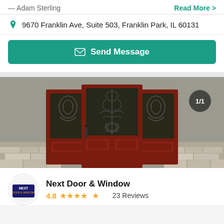— Adam Sterling
Read More >
9670 Franklin Ave, Suite 503, Franklin Park, IL 60131
Send Message
[Figure (photo): A dark red/mahogany front door with decorative wrought-iron glass panels and sidelights, set in a house with gray siding and stone accents at the base. Image counter shows 1/1.]
Next Door & Window
4.8  ★★★★★  23 Reviews